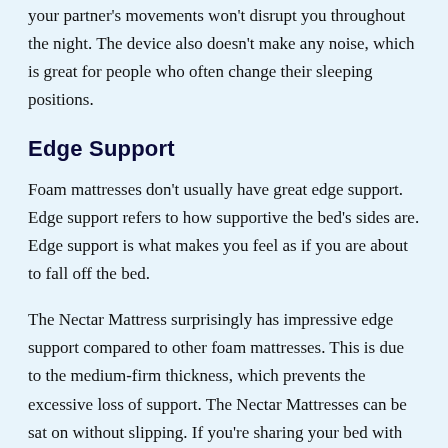your partner's movements won't disrupt you throughout the night. The device also doesn't make any noise, which is great for people who often change their sleeping positions.
Edge Support
Foam mattresses don't usually have great edge support. Edge support refers to how supportive the bed's sides are. Edge support is what makes you feel as if you are about to fall off the bed.
The Nectar Mattress surprisingly has impressive edge support compared to other foam mattresses. This is due to the medium-firm thickness, which prevents the excessive loss of support. The Nectar Mattresses can be sat on without slipping. If you're sharing your bed with somebody, this might be an essential factor to consider.
Pressure relief